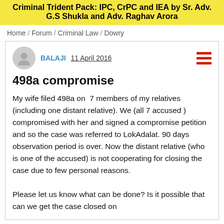Criminal Trident Pack: IPC, CrPC and IEA by Sr. Adv. G.S Shukla and Adv. Raghav Arora
Home / Forum / Criminal Law / Dowry
BALAJI  11 April 2016
498a compromise
My wife filed 498a on  7 members of my relatives (including one distant relative). We (all 7 accused ) compromised with her and signed a compromise petition and so the case was referred to LokAdalat. 90 days observation period is over. Now the distant relative (who is one of the accused) is not cooperating for closing the case due to few personal reasons.

Please let us know what can be done? Is it possible that can we get the case closed on